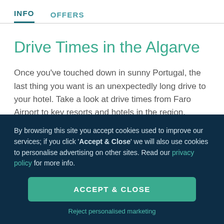INFO   OFFERS
Drive Times in the Algarve
Once you've touched down in sunny Portugal, the last thing you want is an unexpectedly long drive to your hotel. Take a look at drive times from Faro Airport to key resorts and hotels in the region.
By browsing this site you accept cookies used to improve our services; if you click 'Accept & Close' we will also use cookies to personalise advertising on other sites. Read our privacy policy for more info.
ACCEPT & CLOSE
Reject personalised marketing